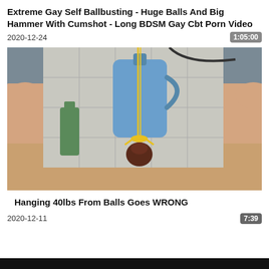Extreme Gay Self Ballbusting - Huge Balls And Big Hammer With Cumshot - Long BDSM Gay Cbt Porn Video
2020-12-24	1:05:00
[Figure (photo): Video thumbnail showing adult content]
Hanging 40lbs From Balls Goes WRONG
2020-12-11	7:39